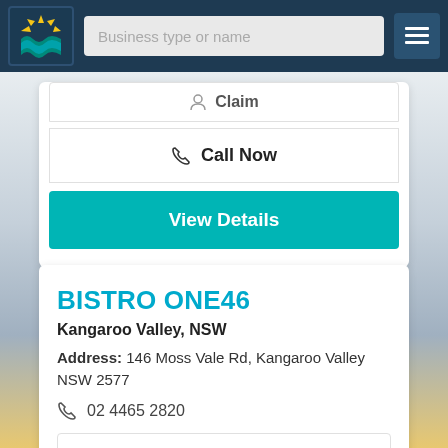[Figure (screenshot): Navigation bar with logo (sun/wave icon), search field labeled 'Business type or name', and hamburger menu button on dark blue background]
Claim
Call Now
View Details
BISTRO ONE46
Kangaroo Valley, NSW
Address: 146 Moss Vale Rd, Kangaroo Valley NSW 2577
02 4465 2820
Email
Claim